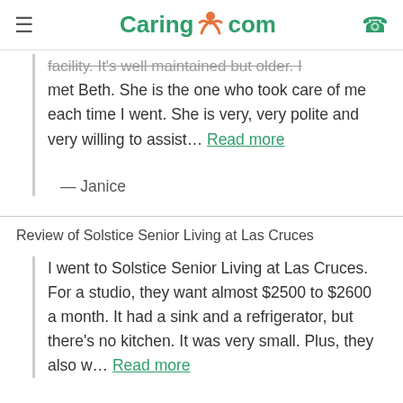Caring.com
facility. It's well maintained but older. I met Beth. She is the one who took care of me each time I went. She is very, very polite and very willing to assist... Read more
— Janice
Review of Solstice Senior Living at Las Cruces
I went to Solstice Senior Living at Las Cruces. For a studio, they want almost $2500 to $2600 a month. It had a sink and a refrigerator, but there's no kitchen. It was very small. Plus, they also w... Read more